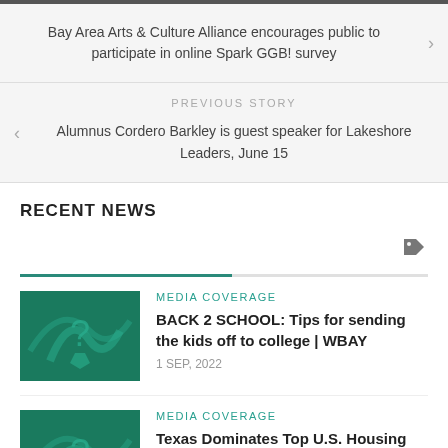Bay Area Arts & Culture Alliance encourages public to participate in online Spark GGB! survey
PREVIOUS STORY
Alumnus Cordero Barkley is guest speaker for Lakeshore Leaders, June 15
RECENT NEWS
MEDIA COVERAGE
BACK 2 SCHOOL: Tips for sending the kids off to college | WBAY
1 SEP, 2022
MEDIA COVERAGE
Texas Dominates Top U.S. Housing Markets: Study | Tacoma News Tribune